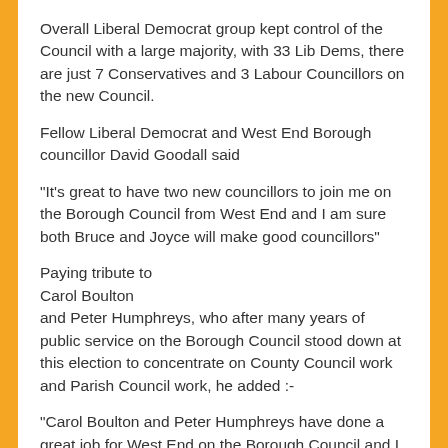Overall Liberal Democrat group kept control of the Council with a large majority, with 33 Lib Dems, there are just 7 Conservatives and 3 Labour Councillors on the new Council.
Fellow Liberal Democrat and West End Borough councillor David Goodall said
"It's great to have two new councillors to join me on the Borough Council from West End and I am sure both Bruce and Joyce will make good councillors"
Paying tribute to
Carol Boulton
and Peter Humphreys, who after many years of public service on the Borough Council stood down at this election to concentrate on County Council work and Parish Council work, he added :-
"Carol Boulton and Peter Humphreys have done a great job for West End on the Borough Council and I am sure they will continue to on both the County and Parish councils."
Thanks must go
to all those who